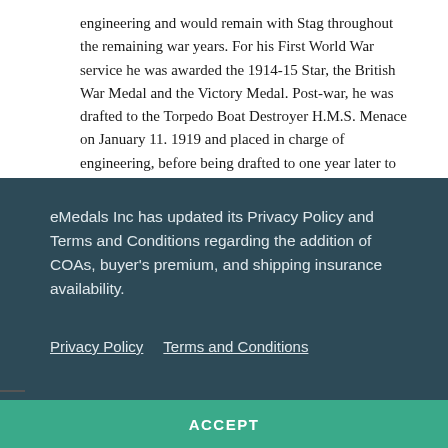engineering and would remain with Stag throughout the remaining war years. For his First World War service he was awarded the 1914-15 Star, the British War Medal and the Victory Medal. Post-war, he was drafted to the Torpedo Boat Destroyer H.M.S. Menace on January 11. 1919 and placed in charge of engineering, before being drafted to one year later to
eMedals Inc has updated its Privacy Policy and Terms and Conditions regarding the addition of COAs, buyer's premium, and shipping insurance availability.
Privacy Policy    Terms and Conditions
ACCEPT